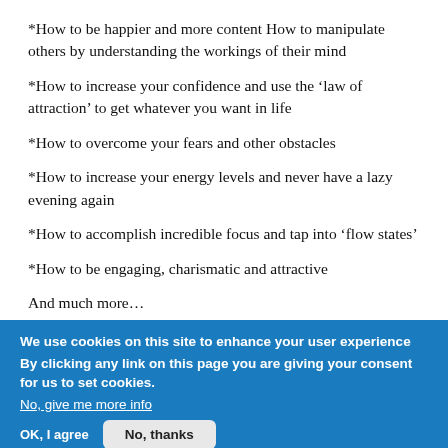*How to be happier and more content How to manipulate others by understanding the workings of their mind
*How to increase your confidence and use the ‘law of attraction’ to get whatever you want in life
*How to overcome your fears and other obstacles
*How to increase your energy levels and never have a lazy evening again
*How to accomplish incredible focus and tap into ‘flow states’
*How to be engaging, charismatic and attractive
And much more…
We use cookies on this site to enhance your user experience
By clicking any link on this page you are giving your consent for us to set cookies.
No, give me more info
OK, I agree   No, thanks